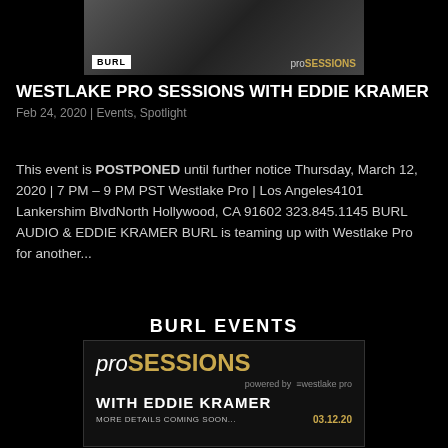[Figure (photo): Promotional image with two people, BURL logo on left and proSESSIONS text on right]
WESTLAKE PRO SESSIONS WITH EDDIE KRAMER
Feb 24, 2020 | Events, Spotlight
This event is POSTPONED until further notice Thursday, March 12, 2020 | 7 PM – 9 PM PST Westlake Pro | Los Angeles4101 Lankershim BlvdNorth Hollywood, CA 91602 323.845.1145 BURL AUDIO & EDDIE KRAMER BURL is teaming up with Westlake Pro for another...
BURL EVENTS
[Figure (logo): proSESSIONS event card: proSESSIONS logo powered by Westlake Pro, WITH EDDIE KRAMER, MORE DETAILS COMING SOON..., 03.12.20]